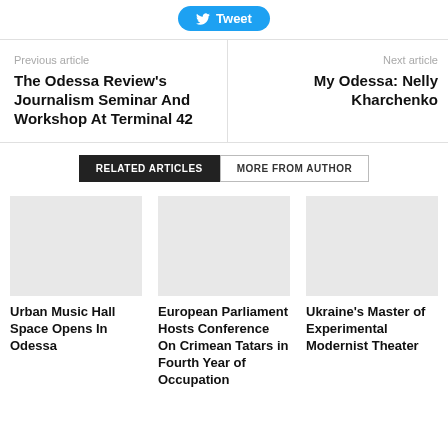[Figure (other): Tweet button with Twitter bird icon]
Previous article
The Odessa Review's Journalism Seminar And Workshop At Terminal 42
Next article
My Odessa: Nelly Kharchenko
RELATED ARTICLES
MORE FROM AUTHOR
[Figure (photo): Placeholder image for Urban Music Hall Space article]
Urban Music Hall Space Opens In Odessa
[Figure (photo): Placeholder image for European Parliament article]
European Parliament Hosts Conference On Crimean Tatars in Fourth Year of Occupation
[Figure (photo): Placeholder image for Ukraine Master of Experimental Modernist Theater article]
Ukraine's Master of Experimental Modernist Theater